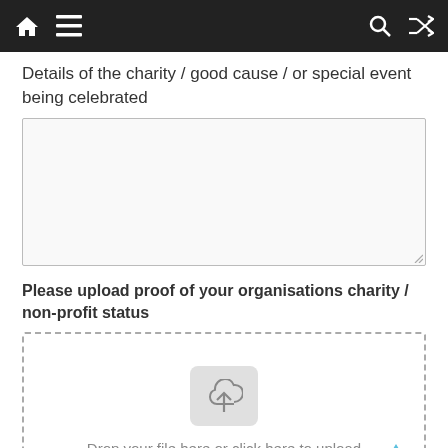Details of the charity / good cause / or special event being celebrated
(textarea input field)
Please upload proof of your organisations charity / non-profit status
[Figure (other): File upload drop zone with cloud upload icon and text: Drop your file here or click here to upload]
i.e. Articles of Association, Constitution, etc